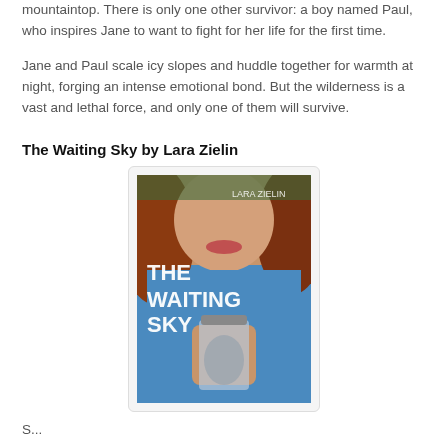mountaintop. There is only one other survivor: a boy named Paul, who inspires Jane to want to fight for her life for the first time.
Jane and Paul scale icy slopes and huddle together for warmth at night, forging an intense emotional bond. But the wilderness is a vast and lethal force, and only one of them will survive.
The Waiting Sky by Lara Zielin
[Figure (photo): Book cover of 'The Waiting Sky' by Lara Zielin. Shows a young woman with red hair wearing a blue shirt, holding a glass jar. The title 'THE WAITING SKY' is overlaid in white text along with the author name 'LARA ZIELIN'.]
S...